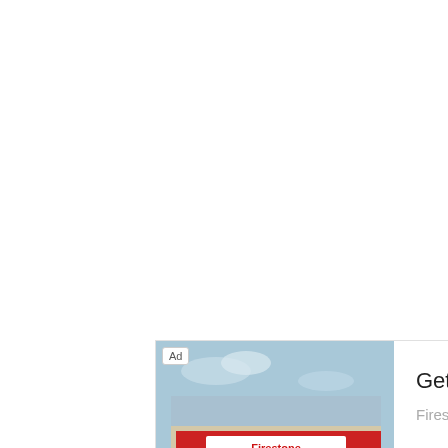[Figure (photo): Advertisement banner with a photo of a Firestone auto service store building exterior on the left, and ad text on the right reading 'Get An Oil Change Near You' with 'Firestone' brand name and 'Learn More' call to action button. An 'Ad' badge is shown in the top-left of the image.]